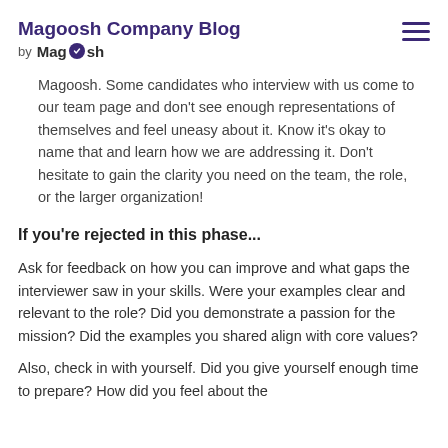Magoosh Company Blog by Magoosh
Magoosh. Some candidates who interview with us come to our team page and don't see enough representations of themselves and feel uneasy about it. Know it's okay to name that and learn how we are addressing it. Don't hesitate to gain the clarity you need on the team, the role, or the larger organization!
If you're rejected in this phase...
Ask for feedback on how you can improve and what gaps the interviewer saw in your skills. Were your examples clear and relevant to the role? Did you demonstrate a passion for the mission? Did the examples you shared align with core values?
Also, check in with yourself. Did you give yourself enough time to prepare? How did you feel about the